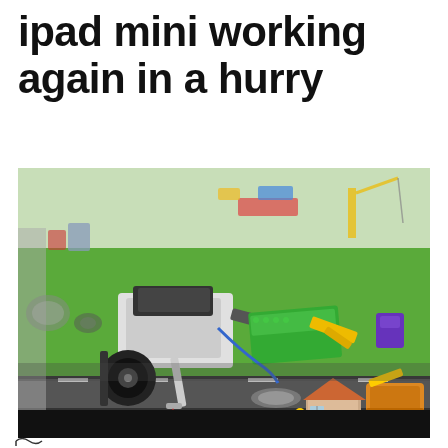ipad mini working again in a hurry
[Figure (photo): A LEGO Mindstorms robot on a green play mat with various LEGO city elements including small buildings, yellow construction equipment, and colorful LEGO pieces scattered around.]